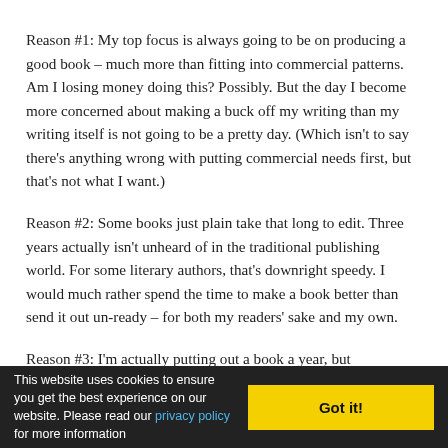Reason #1: My top focus is always going to be on producing a good book – much more than fitting into commercial patterns. Am I losing money doing this? Possibly. But the day I become more concerned about making a buck off my writing than my writing itself is not going to be a pretty day. (Which isn't to say there's anything wrong with putting commercial needs first, but that's not what I want.)
Reason #2: Some books just plain take that long to edit. Three years actually isn't unheard of in the traditional publishing world. For some literary authors, that's downright speedy. I would much rather spend the time to make a book better than send it out un-ready – for both my readers' sake and my own.
Reason #3: I'm actually putting out a book a year, but
This website uses cookies to ensure you get the best experience on our website. Please read our privacy policy for more information   Got it!